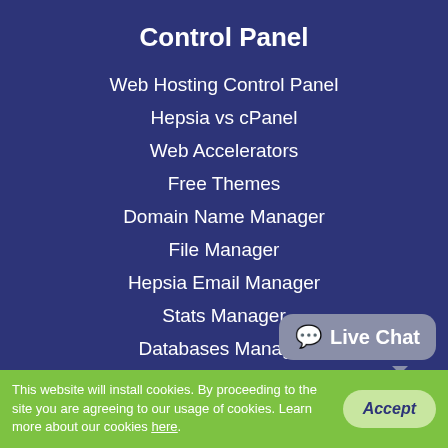Control Panel
Web Hosting Control Panel
Hepsia vs cPanel
Web Accelerators
Free Themes
Domain Name Manager
File Manager
Hepsia Email Manager
Stats Manager
Databases Manager
Free Site Creator
Website Installer
Framework Installer
Marketing Tools
Advanced Tools
Live Chat
This website will install cookies. By proceeding to the site you are agreeing to our usage of cookies. Learn more about our cookies here.